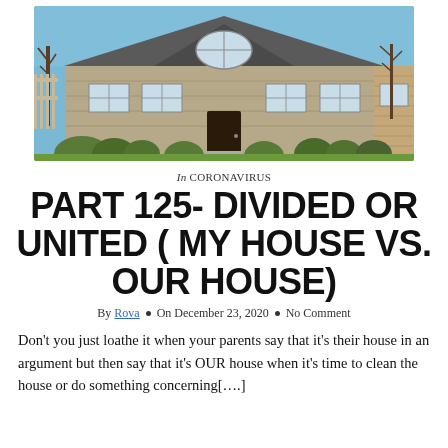[Figure (photo): A suburban single-family home with beige/gray siding, arched windows, manicured shrubs, and bare trees in winter, photographed from the front yard on a clear day.]
In CORONAVIRUS
PART 125- DIVIDED OR UNITED ( MY HOUSE VS. OUR HOUSE)
By Rova • On December 23, 2020 • No Comment
Don't you just loathe it when your parents say that it's their house in an argument but then say that it's OUR house when it's time to clean the house or do something concerning[….]